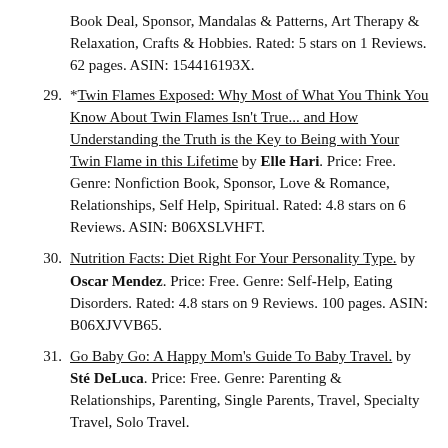Book Deal, Sponsor, Mandalas & Patterns, Art Therapy & Relaxation, Crafts & Hobbies. Rated: 5 stars on 1 Reviews. 62 pages. ASIN: 154416193X.
29. *Twin Flames Exposed: Why Most of What You Think You Know About Twin Flames Isn't True... and How Understanding the Truth is the Key to Being with Your Twin Flame in this Lifetime by Elle Hari. Price: Free. Genre: Nonfiction Book, Sponsor, Love & Romance, Relationships, Self Help, Spiritual. Rated: 4.8 stars on 6 Reviews. ASIN: B06XSLVHFT.
30. Nutrition Facts: Diet Right For Your Personality Type. by Oscar Mendez. Price: Free. Genre: Self-Help, Eating Disorders. Rated: 4.8 stars on 9 Reviews. 100 pages. ASIN: B06XJVVB65.
31. Go Baby Go: A Happy Mom's Guide To Baby Travel. by Sté DeLuca. Price: Free. Genre: Parenting & Relationships, Parenting, Single Parents, Travel, Specialty Travel, Solo Travel.